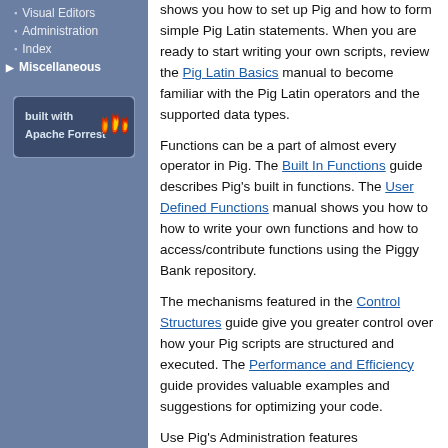Visual Editors
Administration
Index
Miscellaneous
[Figure (logo): Built with Apache Forrest badge with flame logo]
shows you how to set up Pig and how to form simple Pig Latin statements. When you are ready to start writing your own scripts, review the Pig Latin Basics manual to become familiar with the Pig Latin operators and the supported data types.
Functions can be a part of almost every operator in Pig. The Built In Functions guide describes Pig's built in functions. The User Defined Functions manual shows you how to how to write your own functions and how to access/contribute functions using the Piggy Bank repository.
The mechanisms featured in the Control Structures guide give you greater control over how your Pig scripts are structured and executed. The Performance and Efficiency guide provides valuable examples and suggestions for optimizing your code.
Use Pig's Administration features Administration which provides properties that could be set to be used by all your users.
Finally, use Pig's Shell and Utility Commands to run your programs and Pig's expanded Testing and Diagnostics tools to